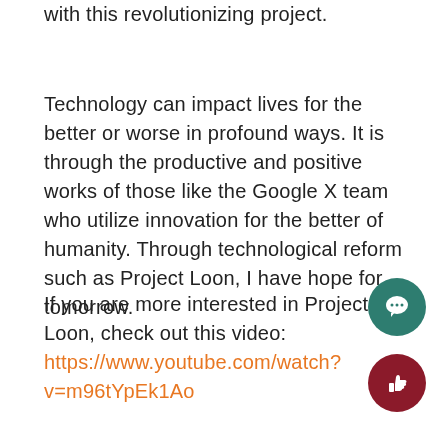with this revolutionizing project.
Technology can impact lives for the better or worse in profound ways. It is through the productive and positive works of those like the Google X team who utilize innovation for the better of humanity. Through technological reform such as Project Loon, I have hope for tomorrow.
If you are more interested in Project Loon, check out this video: https://www.youtube.com/watch?v=m96tYpEk1Ao
[Figure (illustration): Teal circular chat/comment button icon]
[Figure (illustration): Dark red circular thumbs-up button icon]